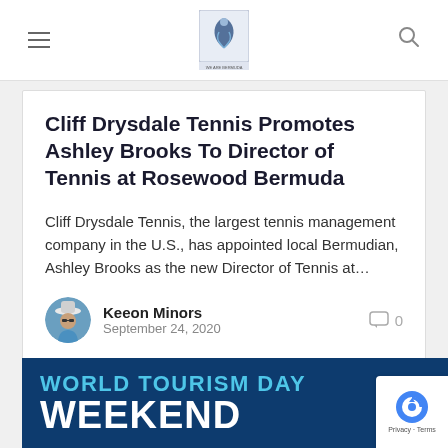[Figure (logo): Website logo with stylized figure and text 'WE ARE BERMUDA']
Cliff Drysdale Tennis Promotes Ashley Brooks To Director of Tennis at Rosewood Bermuda
Cliff Drysdale Tennis, the largest tennis management company in the U.S., has appointed local Bermudian, Ashley Brooks as the new Director of Tennis at…
Keeon Minors
September 24, 2020
[Figure (photo): Round avatar photo of Keeon Minors wearing sunglasses and a blue shirt]
[Figure (infographic): World Tourism Day Weekend banner with dark blue background, teal and white text]